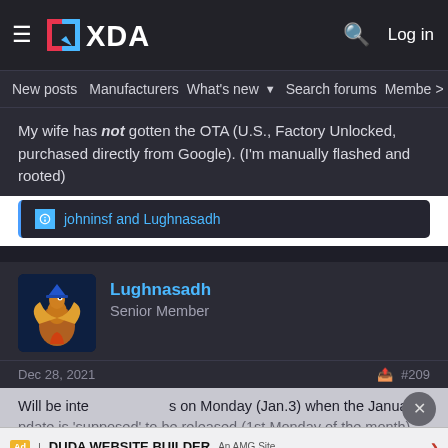XDA — hamburger menu, XDA logo, search icon, Log in
New posts   Manufacturers   What's new   Search forums   Membe  >
My wife has not gotten the OTA (U.S., Factory Unlocked, purchased directly from Google). (I'm manually flashed and rooted)
johninsf and Lughnasadh
Lughnasadh
Senior Member
Dec 28, 2021   #209
Will be interesting to see what happens on Monday (Jan.3) when the January update is 'supposed' to be released (1st Monday of the month)
DUDA WEBSITE BUILDER
Ad | An AMG Site